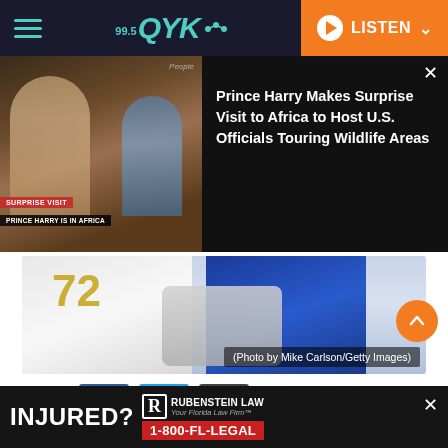99.5 QYK | LISTEN
[Figure (screenshot): News card showing Prince Harry with a child in Africa, with overlay text and People magazine watermark]
Prince Harry Makes Surprise Visit to Africa to Host U.S. Officials Touring Wildlife Areas
[Figure (photo): Hockey players on ice, showing jerseys of Florida Panthers and Tampa Bay Lightning with gloves. Sergei Bobrovsky #72.]
(Photo by Mike Carlson/Getty Images)
Share
Sergei Bobrovsky #72 of the Florida Panthers
[Figure (other): Advertisement: INJURED? Rubenstein Law Your Florida Law Firm 1-800-FL-LEGAL]